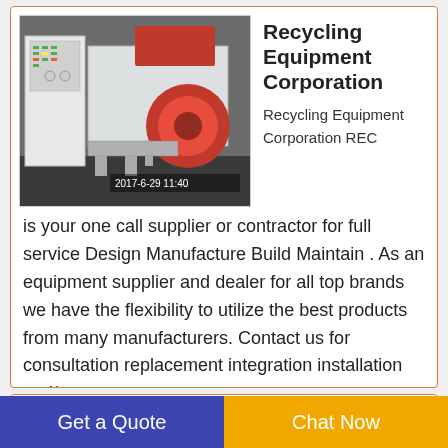[Figure (photo): Industrial recycling machine (copper wire granulator) in a factory setting, showing a white and red machine with control panel. Timestamp: 2017-6-29 11:40]
Recycling Equipment Corporation
Recycling Equipment Corporation REC is your one call supplier or contractor for full service Design Manufacture Build Maintain . As an equipment supplier and dealer for all top brands we have the flexibility to utilize the best products from many manufacturers. Contact us for consultation replacement integration installation and/or
全自动水分铜米机
Scrap Metal
Get a Quote
Chat Now